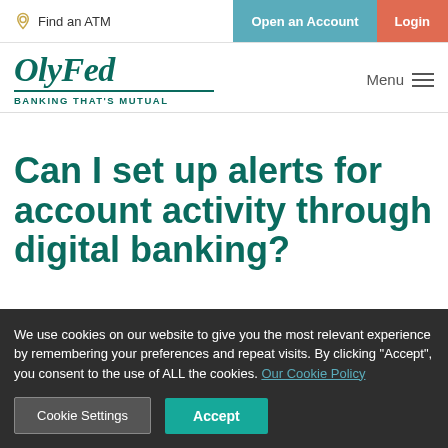Find an ATM | Open an Account | Login
OlyFed — BANKING THAT'S MUTUAL
Can I set up alerts for account activity through digital banking?
We use cookies on our website to give you the most relevant experience by remembering your preferences and repeat visits. By clicking “Accept”, you consent to the use of ALL the cookies. Our Cookie Policy